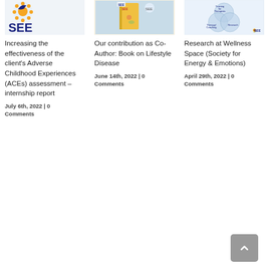[Figure (logo): SEE logo with bird/sunflower icon and large blue SEE text]
[Figure (photo): Yellow book cover on light blue background with SEE label - Book on Lifestyle Disease]
[Figure (illustration): Venn diagram with three overlapping circles: Training for Therapists, Therapy/Coaching, Research, with SEE logo]
Increasing the effectiveness of the client’s Adverse Childhood Experiences (ACEs) assessment – internship report
Our contribution as Co-Author: Book on Lifestyle Disease
Research at Wellness Space (Society for Energy & Emotions)
July 6th, 2022 | 0 Comments
June 14th, 2022 | 0 Comments
April 29th, 2022 | 0 Comments